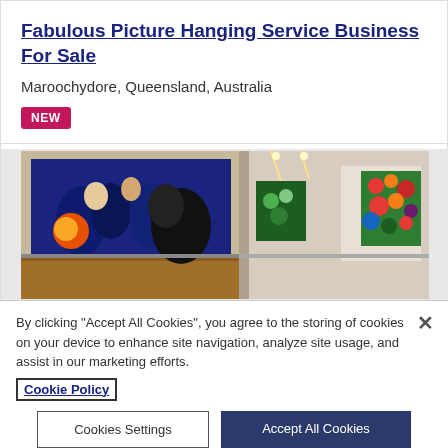Fabulous Picture Hanging Service Business For Sale
Maroochydore, Queensland, Australia
NEW
[Figure (photo): Interior of an art gallery showing large colorful paintings hung on white walls with wooden flooring]
By clicking “Accept All Cookies”, you agree to the storing of cookies on your device to enhance site navigation, analyze site usage, and assist in our marketing efforts.
Cookie Policy
Cookies Settings
Accept All Cookies